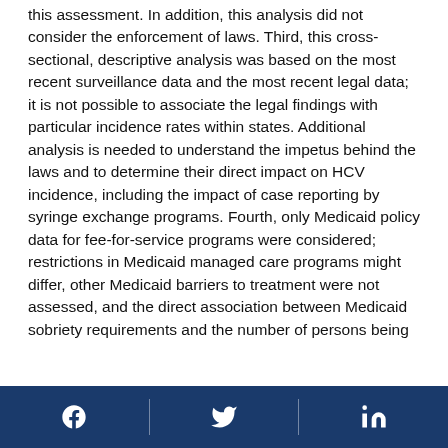this assessment. In addition, this analysis did not consider the enforcement of laws. Third, this cross-sectional, descriptive analysis was based on the most recent surveillance data and the most recent legal data; it is not possible to associate the legal findings with particular incidence rates within states. Additional analysis is needed to understand the impetus behind the laws and to determine their direct impact on HCV incidence, including the impact of case reporting by syringe exchange programs. Fourth, only Medicaid policy data for fee-for-service programs were considered; restrictions in Medicaid managed care programs might differ, other Medicaid barriers to treatment were not assessed, and the direct association between Medicaid sobriety requirements and the number of persons being
[Facebook icon] [Twitter icon] [LinkedIn icon]